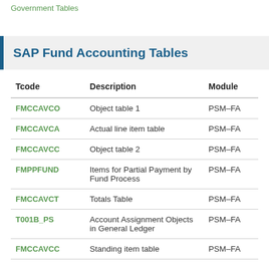Government Tables
SAP Fund Accounting Tables
| Tcode | Description | Module |
| --- | --- | --- |
| FMCCAVCO | Object table 1 | PSM-FA |
| FMCCAVCA | Actual line item table | PSM-FA |
| FMCCAVCC | Object table 2 | PSM-FA |
| FMPPFUND | Items for Partial Payment by Fund Process | PSM-FA |
| FMCCAVCT | Totals Table | PSM-FA |
| T001B_PS | Account Assignment Objects in General Ledger | PSM-FA |
| FMCCAVCC | Standing item table | PSM-FA |